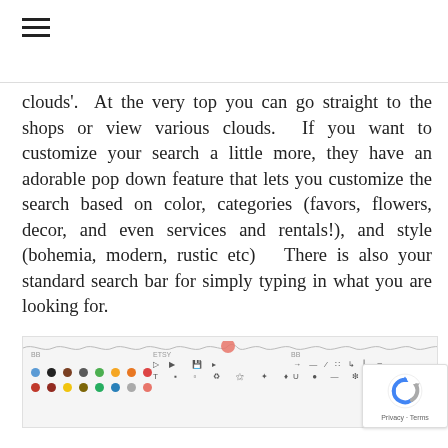[Figure (other): Hamburger menu icon (three horizontal lines)]
clouds'.  At the very top you can go straight to the shops or view various clouds.  If you want to customize your search a little more, they have an adorable pop down feature that lets you customize the search based on color, categories (favors, flowers, decor, and even services and rentals!), and style (bohemia, modern, rustic etc)   There is also your standard search bar for simply typing in what you are looking for.
[Figure (screenshot): Screenshot of a website interface showing a color picker with colored dots and various icons/tools for filtering search options including color, categories, and style options.]
[Figure (logo): reCAPTCHA badge showing the reCAPTCHA logo with Privacy and Terms links below]